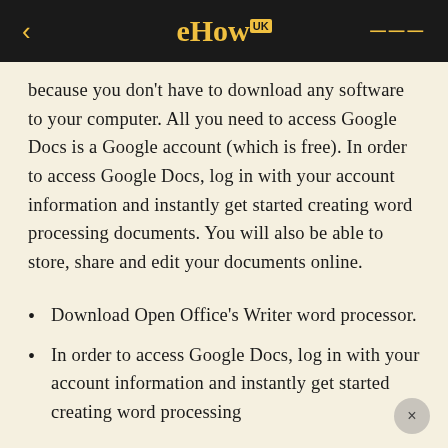eHow UK
because you don't have to download any software to your computer. All you need to access Google Docs is a Google account (which is free). In order to access Google Docs, log in with your account information and instantly get started creating word processing documents. You will also be able to store, share and edit your documents online.
Download Open Office's Writer word processor.
In order to access Google Docs, log in with your account information and instantly get started creating word processing documents.